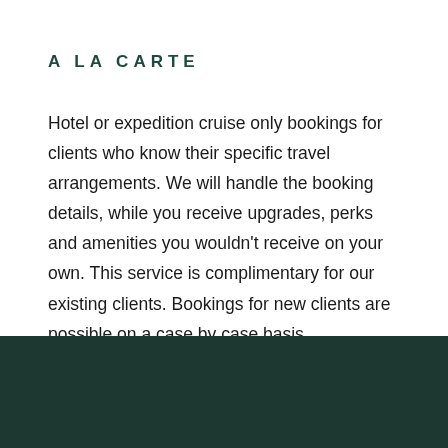A LA CARTE
Hotel or expedition cruise only bookings for clients who know their specific travel arrangements. We will handle the booking details, while you receive upgrades, perks and amenities you wouldn't receive on your own. This service is complimentary for our existing clients. Bookings for new clients are possible on a case by case basis.
[Figure (photo): Dark teal/forest green decorative footer band at the bottom of the page]